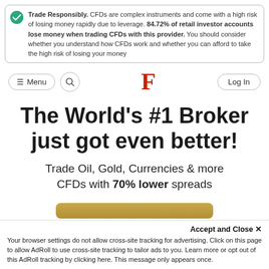Trade Responsibly. CFDs are complex instruments and come with a high risk of losing money rapidly due to leverage. 84.72% of retail investor accounts lose money when trading CFDs with this provider. You should consider whether you understand how CFDs work and whether you can afford to take the high risk of losing your money
[Figure (logo): Navigation bar with menu button, search icon, red F logo, and Log In button]
The World's #1 Broker just got even better!
Trade Oil, Gold, Currencies & more CFDs with 70% lower spreads
Accept and Close ✕
Your browser settings do not allow cross-site tracking for advertising. Click on this page to allow AdRoll to use cross-site tracking to tailor ads to you. Learn more or opt out of this AdRoll tracking by clicking here. This message only appears once.